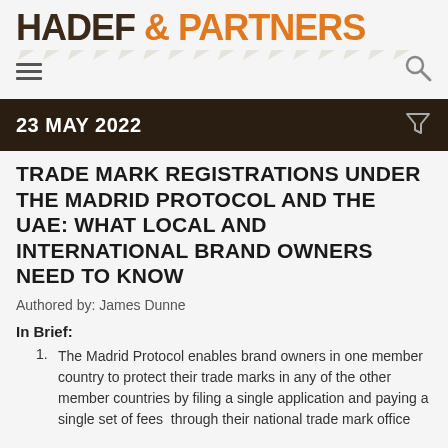HADEF & PARTNERS
23 MAY 2022
TRADE MARK REGISTRATIONS UNDER THE MADRID PROTOCOL AND THE UAE: WHAT LOCAL AND INTERNATIONAL BRAND OWNERS NEED TO KNOW
Authored by: James Dunne
In Brief:
The Madrid Protocol enables brand owners in one member country to protect their trade marks in any of the other member countries by filing a single application and paying a single set of fees  through their national trade mark office